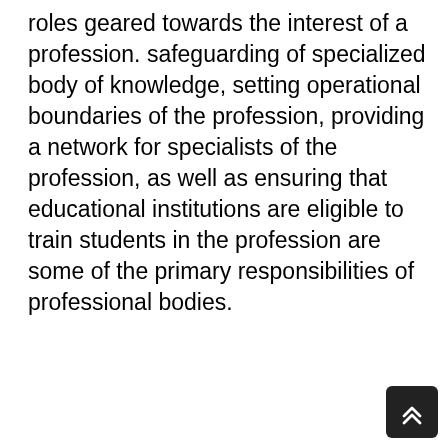roles geared towards the interest of a profession. safeguarding of specialized body of knowledge, setting operational boundaries of the profession, providing a network for specialists of the profession, as well as ensuring that educational institutions are eligible to train students in the profession are some of the primary responsibilities of professional bodies.